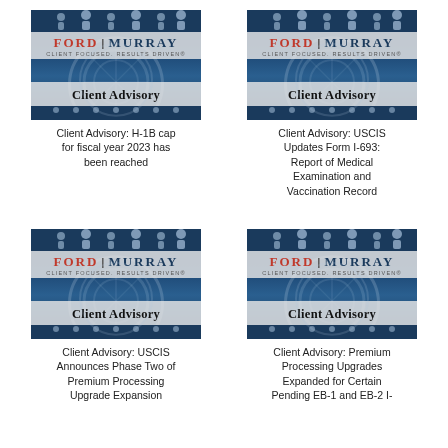[Figure (illustration): Ford Murray Client Advisory branded image with dark blue background and people/circle icons]
Client Advisory: H-1B cap for fiscal year 2023 has been reached
[Figure (illustration): Ford Murray Client Advisory branded image with dark blue background and people/circle icons]
Client Advisory: USCIS Updates Form I-693: Report of Medical Examination and Vaccination Record
[Figure (illustration): Ford Murray Client Advisory branded image with dark blue background and people/circle icons]
Client Advisory: USCIS Announces Phase Two of Premium Processing Upgrade Expansion
[Figure (illustration): Ford Murray Client Advisory branded image with dark blue background and people/circle icons]
Client Advisory: Premium Processing Upgrades Expanded for Certain Pending EB-1 and EB-2 I-